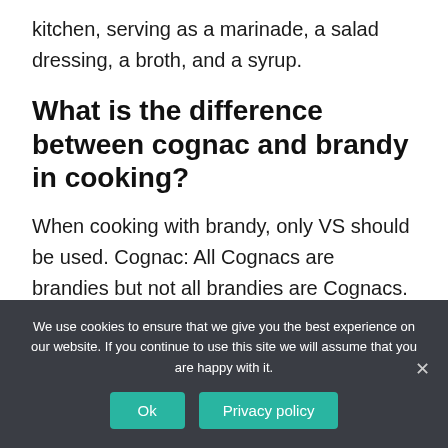kitchen, serving as a marinade, a salad dressing, a broth, and a syrup.
What is the difference between cognac and brandy in cooking?
When cooking with brandy, only VS should be used. Cognac: All Cognacs are brandies but not all brandies are Cognacs. All Cognac must be grown and produced in the Cognac region in the southwest of France.
We use cookies to ensure that we give you the best experience on our website. If you continue to use this site we will assume that you are happy with it.